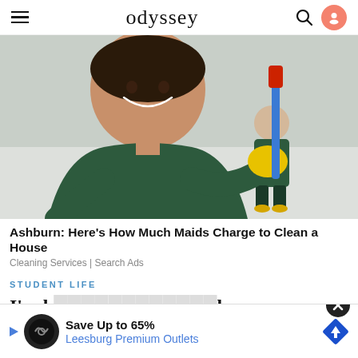odyssey
[Figure (photo): A smiling woman in a dark green uniform and yellow rubber gloves holding a mop or cleaning brush. In the background, a second person in a similar uniform stands in a bright room.]
Ashburn: Here's How Much Maids Charge to Clean a House
Cleaning Services | Search Ads
STUDENT LIFE
I'm b... lass
[Figure (infographic): Advertisement banner: Save Up to 65% Leesburg Premium Outlets, with a navigation/directions road-sign icon and a circular logo icon, and a close (X) button.]